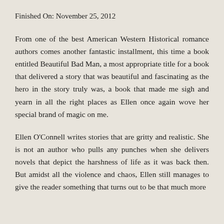Finished On: November 25, 2012
From one of the best American Western Historical romance authors comes another fantastic installment, this time a book entitled Beautiful Bad Man, a most appropriate title for a book that delivered a story that was beautiful and fascinating as the hero in the story truly was, a book that made me sigh and yearn in all the right places as Ellen once again wove her special brand of magic on me.
Ellen O'Connell writes stories that are gritty and realistic. She is not an author who pulls any punches when she delivers novels that depict the harshness of life as it was back then. But amidst all the violence and chaos, Ellen still manages to give the reader something that turns out to be that much more